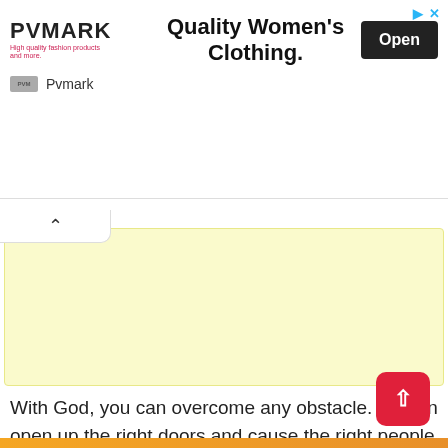[Figure (screenshot): PVMARK advertisement banner for Quality Women's Clothing with Open button, collapse arrow tab, and yellow notepad area]
With God, you can overcome any obstacle.  He can open up the right doors and cause the right people to have favor on you. Stand strong because He's working on your behalf.